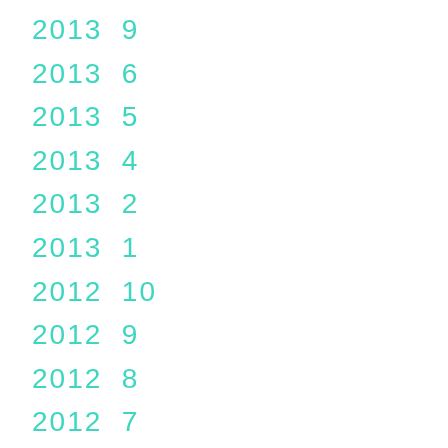2013  9
2013  6
2013  5
2013  4
2013  2
2013  1
2012  10
2012  9
2012  8
2012  7
2012  6